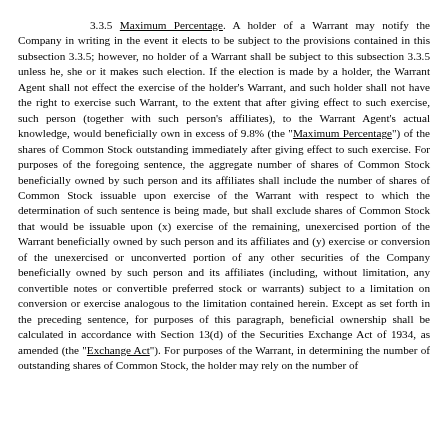3.3.5 Maximum Percentage. A holder of a Warrant may notify the Company in writing in the event it elects to be subject to the provisions contained in this subsection 3.3.5; however, no holder of a Warrant shall be subject to this subsection 3.3.5 unless he, she or it makes such election. If the election is made by a holder, the Warrant Agent shall not effect the exercise of the holder's Warrant, and such holder shall not have the right to exercise such Warrant, to the extent that after giving effect to such exercise, such person (together with such person's affiliates), to the Warrant Agent's actual knowledge, would beneficially own in excess of 9.8% (the "Maximum Percentage") of the shares of Common Stock outstanding immediately after giving effect to such exercise. For purposes of the foregoing sentence, the aggregate number of shares of Common Stock beneficially owned by such person and its affiliates shall include the number of shares of Common Stock issuable upon exercise of the Warrant with respect to which the determination of such sentence is being made, but shall exclude shares of Common Stock that would be issuable upon (x) exercise of the remaining, unexercised portion of the Warrant beneficially owned by such person and its affiliates and (y) exercise or conversion of the unexercised or unconverted portion of any other securities of the Company beneficially owned by such person and its affiliates (including, without limitation, any convertible notes or convertible preferred stock or warrants) subject to a limitation on conversion or exercise analogous to the limitation contained herein. Except as set forth in the preceding sentence, for purposes of this paragraph, beneficial ownership shall be calculated in accordance with Section 13(d) of the Securities Exchange Act of 1934, as amended (the "Exchange Act"). For purposes of the Warrant, in determining the number of outstanding shares of Common Stock, the holder may rely on the number of